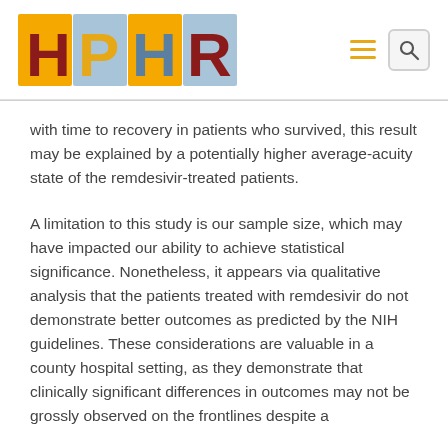[Figure (logo): HPHR logo — colorful letters H, P, H, R on yellow and blue background squares]
with time to recovery in patients who survived, this result may be explained by a potentially higher average-acuity state of the remdesivir-treated patients.
A limitation to this study is our sample size, which may have impacted our ability to achieve statistical significance. Nonetheless, it appears via qualitative analysis that the patients treated with remdesivir do not demonstrate better outcomes as predicted by the NIH guidelines. These considerations are valuable in a county hospital setting, as they demonstrate that clinically significant differences in outcomes may not be grossly observed on the frontlines despite a